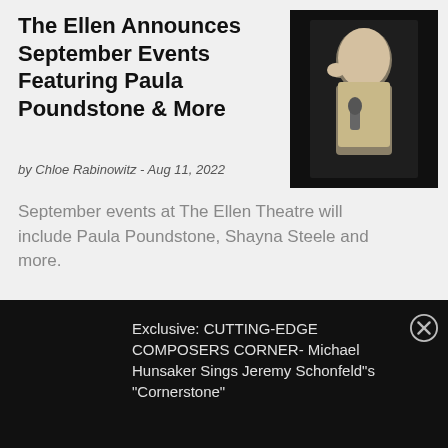The Ellen Announces September Events Featuring Paula Poundstone & More
by Chloe Rabinowitz - Aug 11, 2022
[Figure (photo): A performer on stage holding a microphone against a dark background]
September events at The Ellen Theatre will include Paula Poundstone, Shayna Steele and more.
Exclusive: CUTTING-EDGE COMPOSERS CORNER- Michael Hunsaker Sings Jeremy Schonfeld"s "Cornerstone"